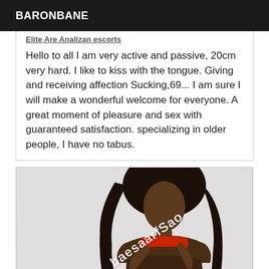BARONBANE
Hello to all I am very active and passive, 20cm very hard. I like to kiss with the tongue. Giving and receiving affection Sucking,69... I am sure I will make a wonderful welcome for everyone. A great moment of pleasure and sex with guaranteed satisfaction. specializing in older people, I have no tabus.
[Figure (photo): Photograph of a person with long dark curly hair, wearing a red top and dark bottom, photographed from behind against a light background. A diagonal watermark text 'baesaarfSao' overlays the image.]